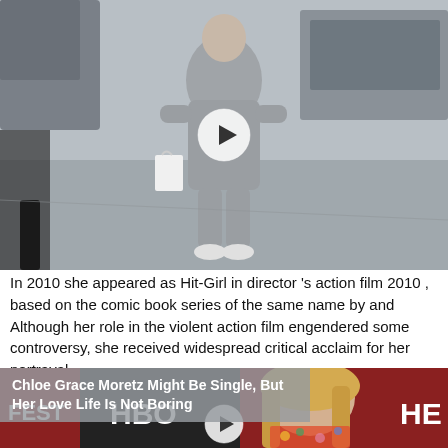[Figure (photo): Person in gray hoodie and sweatpants carrying a white plastic bag, walking in a parking lot. A video play button overlay is centered on the image.]
In 2010 she appeared as Hit-Girl in director 's action film 2010 , based on the comic book series of the same name by and Although her role in the violent action film engendered some controversy, she received widespread critical acclaim for her portrayal.
[Figure (photo): Young blonde woman at what appears to be an HBO event (FEST / HBO branding visible), wearing a floral outfit. A video play button overlay is centered on the image. Title overlay reads: Chloe Grace Moretz Might Be Single, But Her Love Life Is Not Boring]